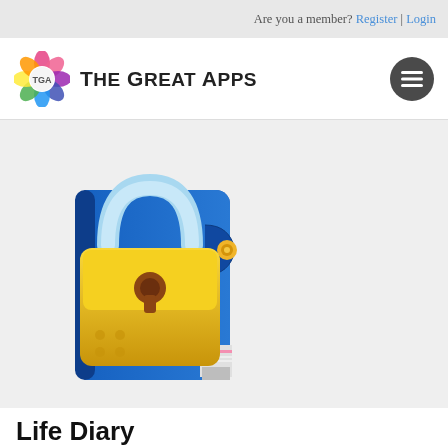Are you a member? Register | Login
[Figure (logo): The Great Apps logo with colorful flower icon and text 'The Great Apps', plus hamburger menu button]
[Figure (illustration): Life Diary app icon: a blue diary/notebook with a gold padlock and cursive 'Life Diary' text on the cover]
Life Diary